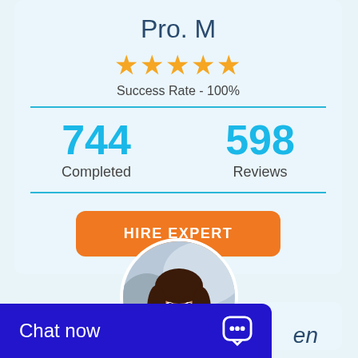Pro. M
★★★★★
Success Rate - 100%
744 Completed
598 Reviews
HIRE EXPERT
[Figure (photo): Circular profile photo of a smiling woman with long dark hair]
en
Chat now